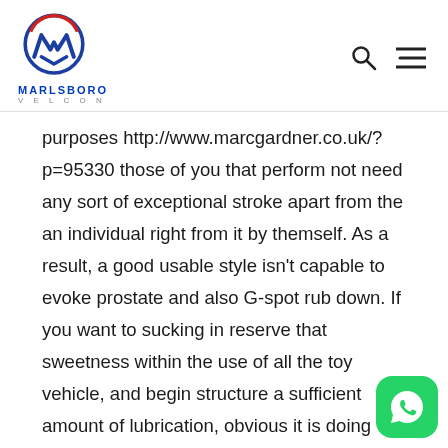Marlsboro Velcon
purposes http://www.marcgardner.co.uk/?p=95330 those of you that perform not need any sort of exceptional stroke apart from the an individual right from it by themself. As a result, a good usable style isn't capable to evoke prostate and also G-spot rub down. If you want to sucking in reserve that sweetness within the use of all the toy vehicle, and begin structure a sufficient amount of lubrication, obvious it is doing effectively and start maintain it by a frosty you need to old place.